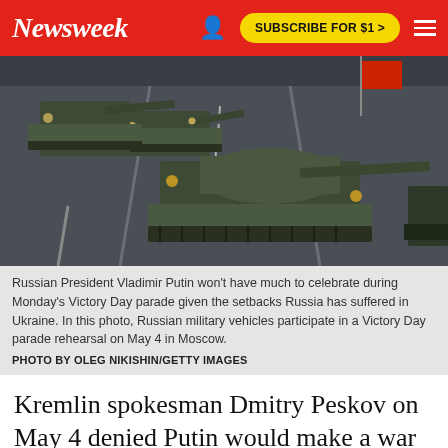Newsweek | SUBSCRIBE FOR $1 >
[Figure (photo): Russian military tanks participating in a Victory Day parade rehearsal, driving on a highway, viewed from above and behind. Multiple tanks visible with gun barrels extended. A red flag is visible in the background.]
Russian President Vladimir Putin won't have much to celebrate during Monday's Victory Day parade given the setbacks Russia has suffered in Ukraine. In this photo, Russian military vehicles participate in a Victory Day parade rehearsal on May 4 in Moscow.
PHOTO BY OLEG NIKISHIN/GETTY IMAGES
Kremlin spokesman Dmitry Peskov on May 4 denied Putin would make a war declaration against Ukraine on Victory Day. If the Russian